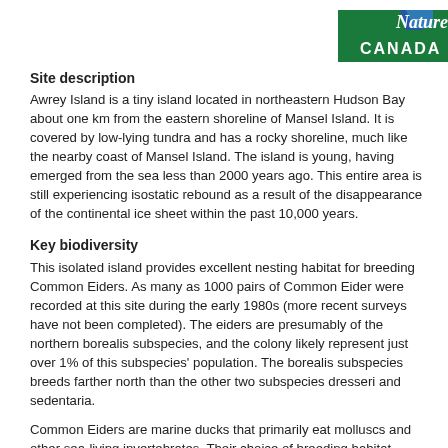[Figure (logo): Nature Canada logo — green rectangle with 'Nature CANADA' text in white and a stylized maple leaf/bird graphic in blue and green]
Site description
Awrey Island is a tiny island located in northeastern Hudson Bay about one km from the eastern shoreline of Mansel Island. It is covered by low-lying tundra and has a rocky shoreline, much like the nearby coast of Mansel Island. The island is young, having emerged from the sea less than 2000 years ago. This entire area is still experiencing isostatic rebound as a result of the disappearance of the continental ice sheet within the past 10,000 years.
Key biodiversity
This isolated island provides excellent nesting habitat for breeding Common Eiders. As many as 1000 pairs of Common Eider were recorded at this site during the early 1980s (more recent surveys have not been completed). The eiders are presumably of the northern borealis subspecies, and the colony likely represent just over 1% of this subspecies' population. The borealis subspecies breeds farther north than the other two subspecies dresseri and sedentaria.
Common Eiders are marine ducks that primarily eat molluscs and other sea-living invertebrates. Their choice of breeding habitat usually consists of low rocky shores on isolated islands, but they also nest inland on tundra near pools and rivers. If the Awrey Island